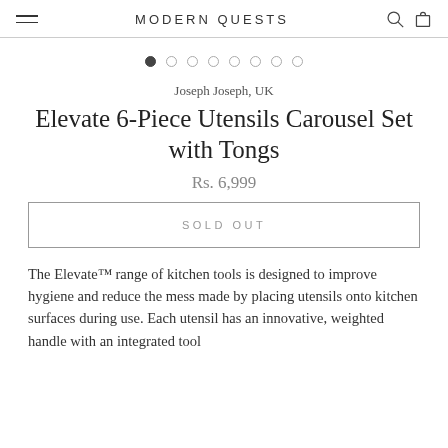MODERN QUESTS
[Figure (other): Carousel pagination dots — 8 dots with first dot active]
Joseph Joseph, UK
Elevate 6-Piece Utensils Carousel Set with Tongs
Rs. 6,999
SOLD OUT
The Elevate™ range of kitchen tools is designed to improve hygiene and reduce the mess made by placing utensils onto kitchen surfaces during use. Each utensil has an innovative, weighted handle with an integrated tool